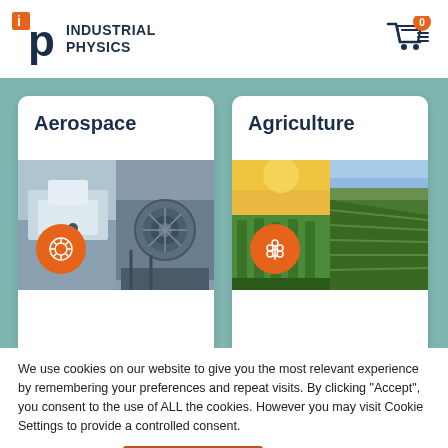[Figure (logo): Industrial Physics logo with orange 'ip' icon and dark navy text]
[Figure (illustration): Shopping cart icon with orange badge showing 0]
[Figure (photo): Aerospace card with white rounded top half showing 'Aerospace' title, and bottom half showing aerospace factory/aircraft photos with orange circular icon]
[Figure (photo): Agriculture card with white rounded top half showing 'Agriculture' title, and bottom half showing green crop field photos with orange circular icon]
We use cookies on our website to give you the most relevant experience by remembering your preferences and repeat visits. By clicking “Accept”, you consent to the use of ALL the cookies. However you may visit Cookie Settings to provide a controlled consent.
Cookie settings
ACCEPT ALL